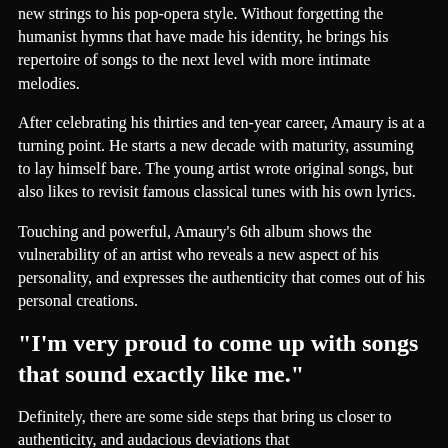new strings to his pop-opera style. Without forgetting the humanist hymns that have made his identity, he brings his repertoire of songs to the next level with more intimate melodies.
After celebrating his thirties and ten-year career, Amaury is at a turning point. He starts a new decade with maturity, assuming to lay himself bare. The young artist wrote original songs, but also likes to revisit famous classical tunes with his own lyrics.
Touching and powerful, Amaury's 6th album shows the vulnerability of an artist who reveals a new aspect of his personality, and expresses the authenticity that comes out of his personal creations.
"I'm very proud to come up with songs that sound exactly like me."
Definitely, there are some side steps that bring us closer to authenticity, and audacious deviations that